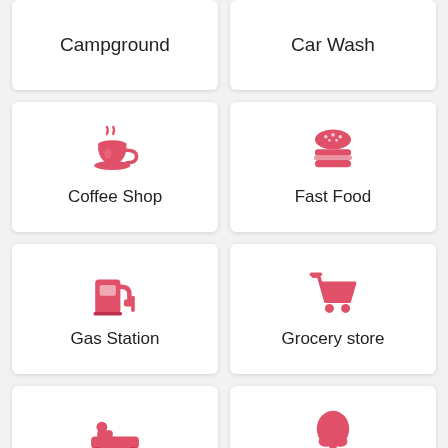[Figure (illustration): Card with text Campground (top partial)]
[Figure (illustration): Card with text Car Wash (top partial)]
[Figure (illustration): Coffee cup icon in red with text Coffee Shop]
[Figure (illustration): Hamburger icon in red with text Fast Food]
[Figure (illustration): Gas pump icon in red with text Gas Station]
[Figure (illustration): Shopping cart icon in red with text Grocery store]
[Figure (illustration): Hotel/bed icon in red with text Hotel]
[Figure (illustration): Tree icon in red with text Park]